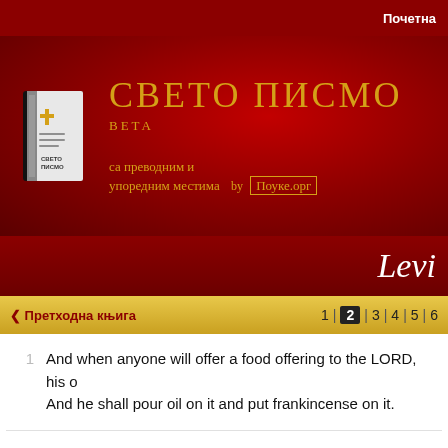Почетна
[Figure (screenshot): Sveto Pismo website header banner with book logo and Cyrillic title text 'СВЕТО ПИСМО' with subtitle 'са преводним и упоредним местима by Поуке.орг']
Levi
< Претходна књига    1 | 2 | 3 | 4 | 5 | 6
1  And when anyone will offer a food offering to the LORD, his o... And he shall pour oil on it and put frankincense on it.
2  And he shall bring it to Aaron's sons, the priests. And he shall ta... flour and its oil, with all its frankincense. And the priest shall br... altar, an offering made by fire, of a sweet savor to the LORD.